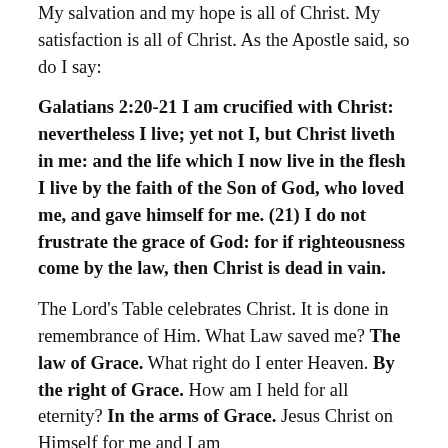My salvation and my hope is all of Christ. My satisfaction is all of Christ. As the Apostle said, so do I say:
Galatians 2:20-21 I am crucified with Christ: nevertheless I live; yet not I, but Christ liveth in me: and the life which I now live in the flesh I live by the faith of the Son of God, who loved me, and gave himself for me. (21) I do not frustrate the grace of God: for if righteousness come by the law, then Christ is dead in vain.
The Lord's Table celebrates Christ. It is done in remembrance of Him. What Law saved me? The law of Grace. What right do I enter Heaven. By the right of Grace. How am I held for all eternity? In the arms of Grace. Jesus Christ on Himself for me and I am...